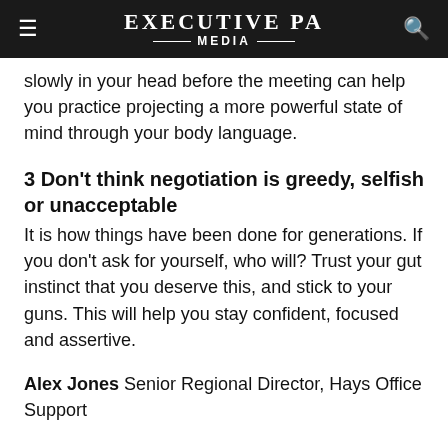EXECUTIVE PA MEDIA
slowly in your head before the meeting can help you practice projecting a more powerful state of mind through your body language.
3 Don't think negotiation is greedy, selfish or unacceptable
It is how things have been done for generations. If you don't ask for yourself, who will? Trust your gut instinct that you deserve this, and stick to your guns. This will help you stay confident, focused and assertive.
Alex Jones Senior Regional Director, Hays Office Support